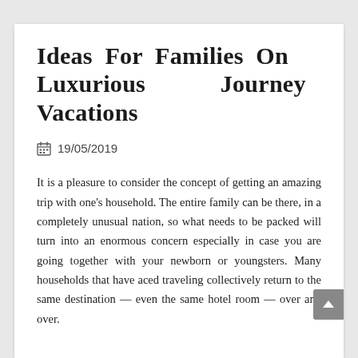Ideas For Families On Luxurious Journey Vacations
19/05/2019
It is a pleasure to consider the concept of getting an amazing trip with one's household. The entire family can be there, in a completely unusual nation, so what needs to be packed will turn into an enormous concern especially in case you are going together with your newborn or youngsters. Many households that have aced traveling collectively return to the same destination — even the same hotel room — over and over.